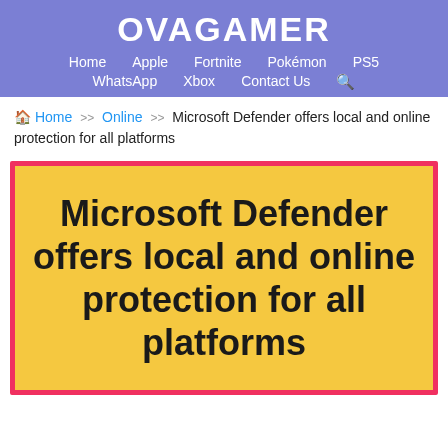OVAGAMER
Home  Apple  Fortnite  Pokémon  PS5  WhatsApp  Xbox  Contact Us
Home >> Online >> Microsoft Defender offers local and online protection for all platforms
[Figure (illustration): Yellow featured image box with red border containing bold black text: Microsoft Defender offers local and online protection for all platforms]